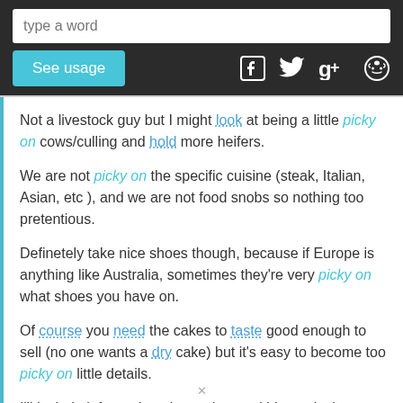[Figure (screenshot): Web app header with search input box showing placeholder 'type a word', a 'See usage' button in teal, and social media icons (Facebook, Twitter, Google+, Reddit) on dark background.]
Not a livestock guy but I might look at being a little picky on cows/culling and hold more heifers.
We are not picky on the specific cuisine (steak, Italian, Asian, etc ), and we are not food snobs so nothing too pretentious.
Definetely take nice shoes though, because if Europe is anything like Australia, sometimes they're very picky on what shoes you have on.
Of course you need the cakes to taste good enough to sell (no one wants a dry cake) but it's easy to become too picky on little details.
I'll include information about what my kids are loving (they get limited screen time, which makes them appreciate it all the